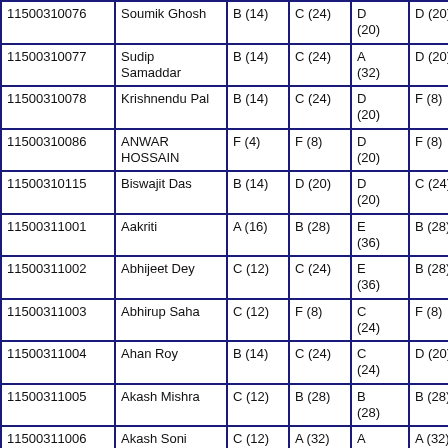| ID | Name | Col3 | Col4 | Col5 | Col6 | Col7 |
| --- | --- | --- | --- | --- | --- | --- |
| 11500310076 | Soumik Ghosh | B (14) | C (24) | D (20) | D (20) | C (24 |
| 11500310077 | Sudip Samaddar | B (14) | C (24) | A (32) | D (20) | D (20 |
| 11500310078 | Krishnendu Pal | B (14) | C (24) | D (20) | F (8) | D (20 |
| 11500310086 | ANWAR HOSSAIN | F (4) | F (8) | D (20) | F (8) | F (8) |
| 11500310115 | Biswajit Das | B (14) | D (20) | D (20) | C (24) | D (20 |
| 11500311001 | Aakriti | A (16) | B (28) | E (36) | B (28) | B (28 |
| 11500311002 | Abhijeet Dey | C (12) | C (24) | E (36) | B (28) | A (32 |
| 11500311003 | Abhirup Saha | C (12) | F (8) | C (24) | F (8) | F (8) |
| 11500311004 | Ahan Roy | B (14) | C (24) | C (24) | D (20) | F (8) |
| 11500311005 | Akash Mishra | C (12) | B (28) | B (28) | B (28) | C (24 |
| 11500311006 | Akash Soni | C (12) | A (32) | A (32) | A (32) | A (32 |